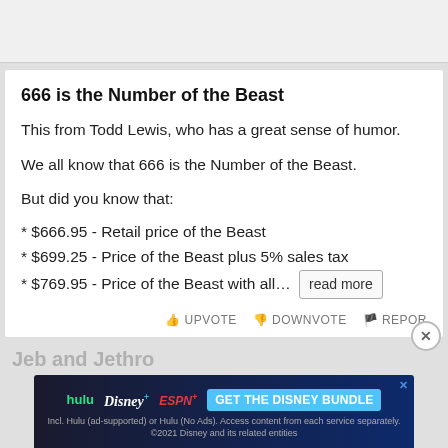[Figure (screenshot): Top portion of a previous card, partially visible, gray background]
666 is the Number of the Beast
This from Todd Lewis, who has a great sense of humor.
We all know that 666 is the Number of the Beast.
But did you know that:
* $666.95 - Retail price of the Beast
* $699.25 - Price of the Beast plus 5% sales tax
* $769.95 - Price of the Beast with all…  [read more]
UPVOTE   DOWNVOTE   REPORT
Jeb and Jethro
[Figure (screenshot): Disney Bundle advertisement banner: hulu Disney+ ESPN+ GET THE DISNEY BUNDLE. Incl. Hulu (ad-supported) or Hulu (No Ads). Access content from each service separately. ©2021 Disney and its related entities]
Jeb and Jethro… side of town. Jeb asks Jethro to go in to town to pick up some lumber. Jethro walks the 5 miles to town to…